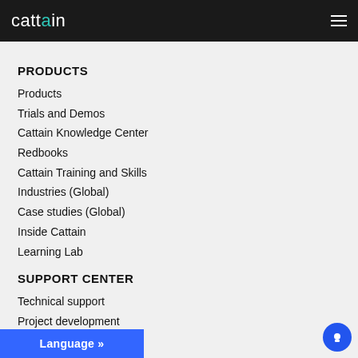cattain [logo with hamburger menu]
PRODUCTS
Products
Trials and Demos
Cattain Knowledge Center
Redbooks
Cattain Training and Skills
Industries (Global)
Case studies (Global)
Inside Cattain
Learning Lab
SUPPORT CENTER
Technical support
Project development
Bus